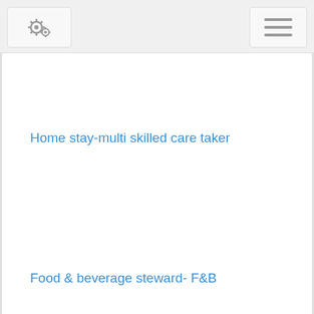Home stay-multi skilled care taker
Food & beverage steward- F&B